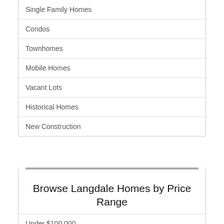Single Family Homes
Condos
Townhomes
Mobile Homes
Vacant Lots
Historical Homes
New Construction
Browse Langdale Homes by Price Range
Under $100,000